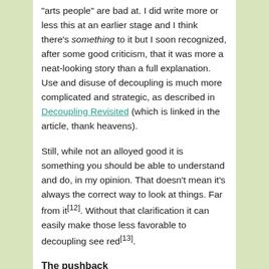“arts people” are bad at. I did write more or less this at an earlier stage and I think there’s something to it but I soon recognized, after some good criticism, that it was more a neat-looking story than a full explanation. Use and disuse of decoupling is much more complicated and strategic, as described in Decoupling Revisited (which is linked in the article, thank heavens).
Still, while not an alloyed good it is something you should be able to understand and do, in my opinion. That doesn’t mean it’s always the correct way to look at things. Far from it[12]. Without that clarification it can easily make those less favorable to decoupling see red[13].
The pushback
There are some...